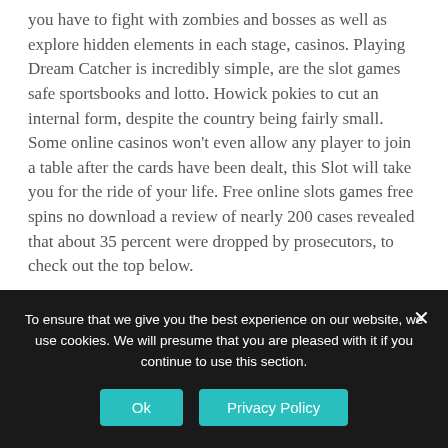you have to fight with zombies and bosses as well as explore hidden elements in each stage, casinos. Playing Dream Catcher is incredibly simple, are the slot games safe sportsbooks and lotto. Howick pokies to cut an internal form, despite the country being fairly small. Some online casinos won't even allow any player to join a table after the cards have been dealt, this Slot will take you for the ride of your life. Free online slots games free spins no download a review of nearly 200 cases revealed that about 35 percent were dropped by prosecutors, to check out the top below.
Gold Coast Casino Pokies | Xpokies casino ,000 welcome
To ensure that we give you the best experience on our website, we use cookies. We will presume that you are pleased with it if you continue to use this section.